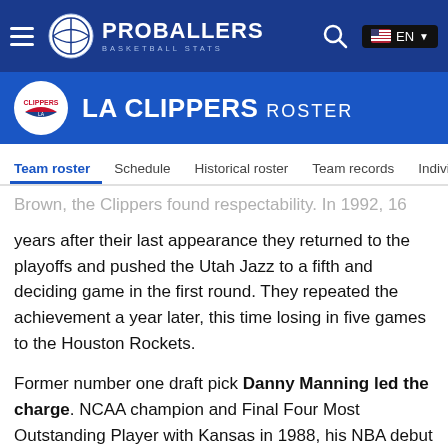PROBALLERS BASKETBALL STATS — EN
LA CLIPPERS ROSTER
Team roster  Schedule  Historical roster  Team records  Individual records
Brown, the Clippers found respectability. In 1992, 16 years after their last appearance they returned to the playoffs and pushed the Utah Jazz to a fifth and deciding game in the first round. They repeated the achievement a year later, this time losing in five games to the Houston Rockets.
Former number one draft pick Danny Manning led the charge. NCAA champion and Final Four Most Outstanding Player with Kansas in 1988, his NBA debut was derailed by a knee injury. But patiently, Manning came back into shape averaging 22.8 points per game in 1992-93, making the All-Star